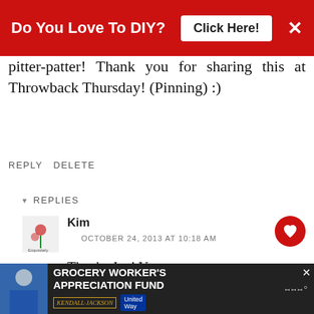[Figure (screenshot): Red banner advertisement: 'Do You Love To DIY? Click Here!' with close button]
pitter-patter! Thank you for sharing this at Throwback Thursday! (Pinning) :)
REPLY DELETE
REPLIES
Kim
OCTOBER 24, 2013 AT 10:18 AM
Thanks Jen! Your comment just made my morning! :) Thanks for hosting! great party idea, love it!
[Figure (screenshot): What's Next panel: Patriotic Ribbon Wreath]
[Figure (screenshot): Bottom ad banner: Grocery Worker's Appreciation Fund with Kendall-Jackson and United Way logos]